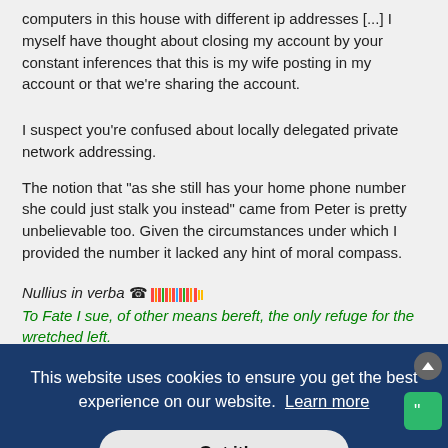computers in this house with different ip addresses [...] I myself have thought about closing my account by your constant inferences that this is my wife posting in my account or that we're sharing the account.
I suspect you're confused about locally delegated private network addressing.
The notion that "as she still has your home phone number she could just stalk you instead" came from Peter is pretty unbelievable too. Given the circumstances under which I provided the number it lacked any hint of moral compass.
Nullius in verba ☎ [barcode graphic] To Fate I sue, of other means bereft, the only refuge for the wretched left. Who has a spare two minutes to play in this month's FG Trivia game!
This website uses cookies to ensure you get the best experience on our website. Learn more
Got it!
G#Gill;1313966 wrote: Sorry, Peter, but the spot post where you